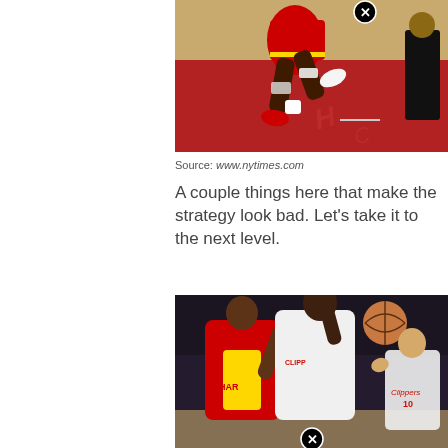[Figure (photo): Basketball player in red Houston Rockets uniform jumping/running on a basketball court, seen from waist down, with another person in black suit visible in background]
Source: www.nytimes.com
A couple things here that make the strategy look bad. Let's take it to the next level.
[Figure (photo): Two NBA basketball players contesting for the ball — one in Houston Rockets red/yellow uniform, one in LA Clippers white uniform — with a basketball visible and another Clippers player (number 10) in the background]